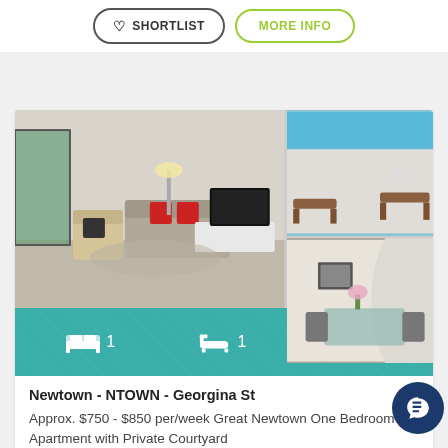[Figure (screenshot): Top partial card with SHORTLIST and MORE INFO buttons]
[Figure (photo): Property photo collage showing living room with sofa and red cushions, outdoor courtyard with timber bench seats, and dining area with glass table]
1 bedroom  1 bathroom  1 car
Newtown - NTOWN - Georgina St
Approx. $750 - $850 per/week Great Newtown One Bedroom Apartment with Private Courtyard
SHORTLIST   MORE INFO